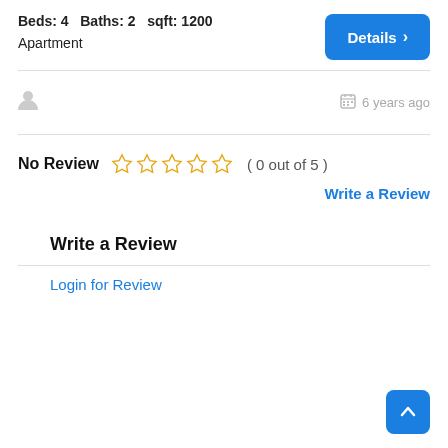Beds: 4   Baths: 2   sqft: 1200
Apartment
Details >
6 years ago
No Review   ( 0 out of 5 )
Write a Review
Write a Review
Login for Review